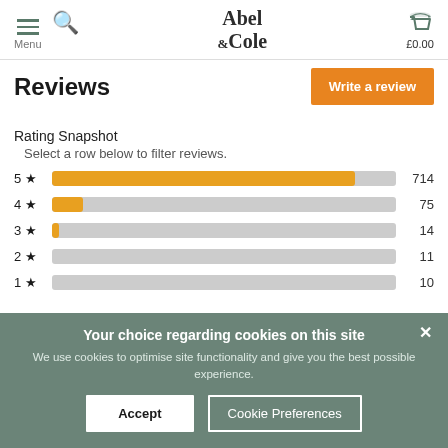Menu | Abel & Cole | £0.00
Reviews
Rating Snapshot
Select a row below to filter reviews.
[Figure (bar-chart): Rating Snapshot]
Your choice regarding cookies on this site
We use cookies to optimise site functionality and give you the best possible experience.